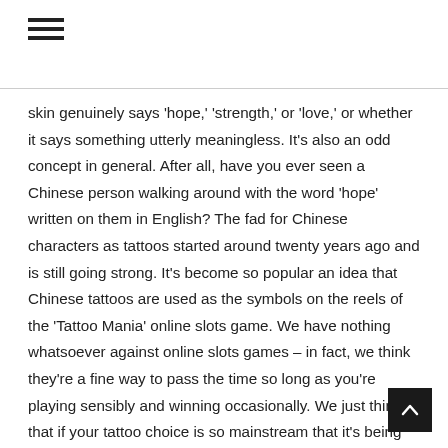≡
skin genuinely says 'hope,' 'strength,' or 'love,' or whether it says something utterly meaningless. It's also an odd concept in general. After all, have you ever seen a Chinese person walking around with the word 'hope' written on them in English? The fad for Chinese characters as tattoos started around twenty years ago and is still going strong. It's become so popular an idea that Chinese tattoos are used as the symbols on the reels of the 'Tattoo Mania' online slots game. We have nothing whatsoever against online slots games – in fact, we think they're a fine way to pass the time so long as you're playing sensibly and winning occasionally. We just think that if your tattoo choice is so mainstream that it's being used on a popular online casino, it's probably a sign you need to come up with a different choice.